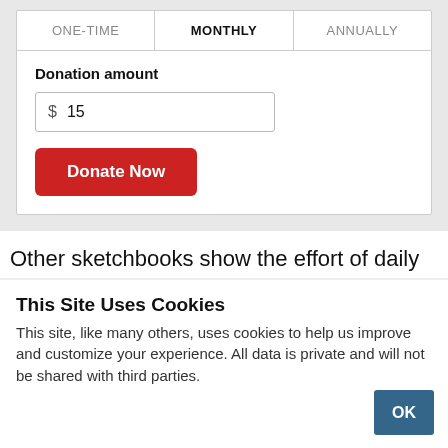| ONE-TIME | MONTHLY | ANNUALLY |
| --- | --- | --- |
Donation amount
$ 15
Donate Now
Other sketchbooks show the effort of daily
This Site Uses Cookies
This site, like many others, uses cookies to help us improve and customize your experience. All data is private and will not be shared with third parties.
OK